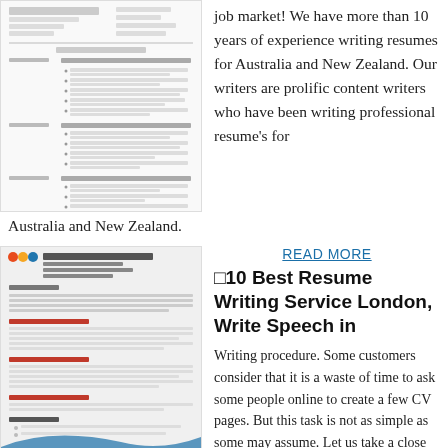[Figure (illustration): Scanned/rendered resume document preview showing professional experience section with bullet points, name and contact info at top]
job market! We have more than 10 years of experience writing resumes for Australia and New Zealand. Our writers are prolific content writers who have been writing professional resume's for
Australia and New Zealand.
[Figure (illustration): Resume document preview with blue swoosh design elements, showing nursing/healthcare professional resume with sections for objective, experience, education, and references]
READ MORE
⬜10 Best Resume Writing Service London, Write Speech in
Writing procedure. Some customers consider that it is a waste of time to ask some people online to create a few CV pages. But this task is not as simple as some may assume. Let us take a close look at the procedure of